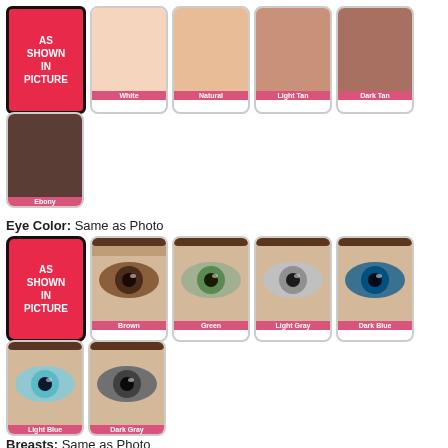[Figure (infographic): Skin tone swatches row 1: AS SHOWN IN PICTURE (red), White, Natural, Light Tan, Dark Tan]
[Figure (infographic): Skin tone swatches row 2: Ebony]
Eye Color:  Same as Photo
[Figure (infographic): Eye color swatches row 1: AS SHOWN IN PICTURE (red), Brown, Green, Light Gray, Dark Blue]
[Figure (infographic): Eye color swatches row 2: Light Blue, Dark Gray]
Breasts:  Same as Photo
[Figure (infographic): Breast shape swatches: AS SHOWN IN PICTURE (red), and three breast shape options]